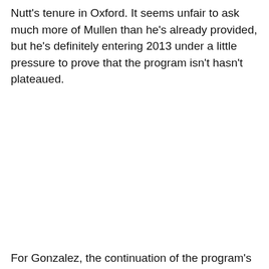Nutt's tenure in Oxford. It seems unfair to ask much more of Mullen than he's already provided, but he's definitely entering 2013 under a little pressure to prove that the program isn't hasn't plateaued.
For Gonzalez, the continuation of the program's...